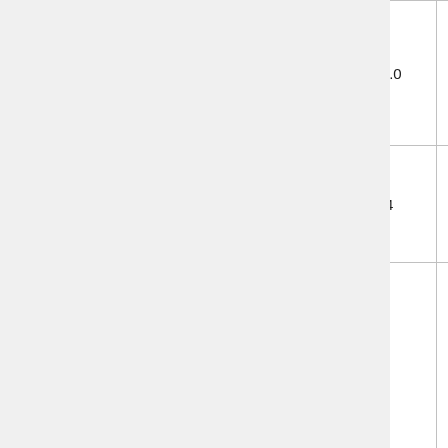| Package | Version | License |
| --- | --- | --- |
| monolog/monolog | 1.14.0 | MIT |
| nmred/kafka-php | 0.1.4 | BSD Cla... |
| oojs/oojs-ui | 0.12.12 | MIT |